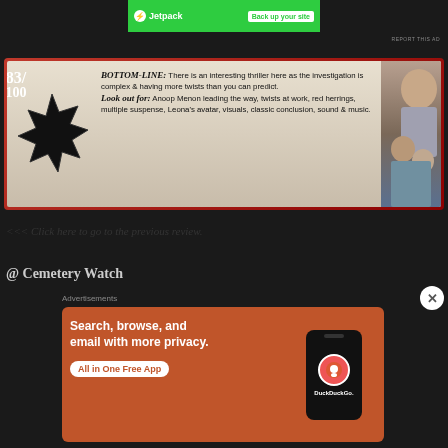[Figure (screenshot): Jetpack advertisement banner with green background showing lightning bolt logo and 'Back up your site' button]
[Figure (infographic): Movie review card with red border, star burst showing score 83/100, review text with BOTTOM-LINE and Look out for sections, and actor images]
<<< Click here to go to the previous review.
@ Cemetery Watch
[Figure (screenshot): DuckDuckGo advertisement: Search, browse, and email with more privacy. All in One Free App. Shows DuckDuckGo logo on phone.]